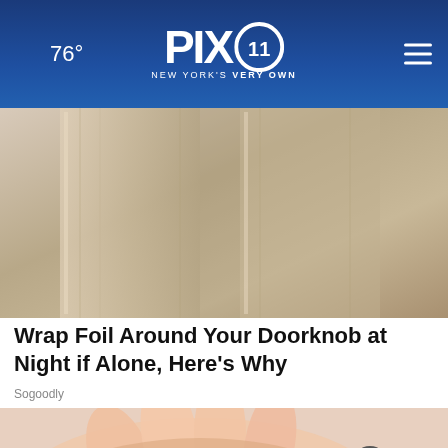76° PIX11 NEW YORK'S VERY OWN
[Figure (photo): Close-up photo of a door with wood-grain texture panels, lit from the side]
Wrap Foil Around Your Doorknob at Night if Alone, Here's Why
Sogoodly
[Figure (photo): Close-up photo of hands clasped together, skin tones visible against a light background]
BUZZED AND DOING SOMETHING TO MAKE YOURSELF OKAY TO DRIVE?